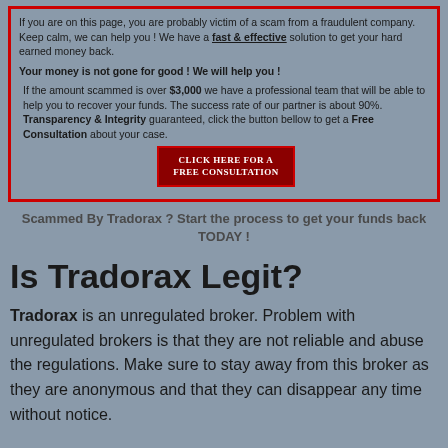If you are on this page, you are probably victim of a scam from a fraudulent company. Keep calm, we can help you ! We have a fast & effective solution to get your hard earned money back.
Your money is not gone for good ! We will help you !
If the amount scammed is over $3,000 we have a professional team that will be able to help you to recover your funds. The success rate of our partner is about 90%. Transparency & Integrity guaranteed, click the button bellow to get a Free Consultation about your case.
[Figure (other): Dark red button with text CLICK HERE FOR A FREE CONSULTATION]
Scammed By Tradorax ? Start the process to get your funds back TODAY !
Is Tradorax Legit?
Tradorax is an unregulated broker. Problem with unregulated brokers is that they are not reliable and abuse the regulations. Make sure to stay away from this broker as they are anonymous and that they can disappear any time without notice.